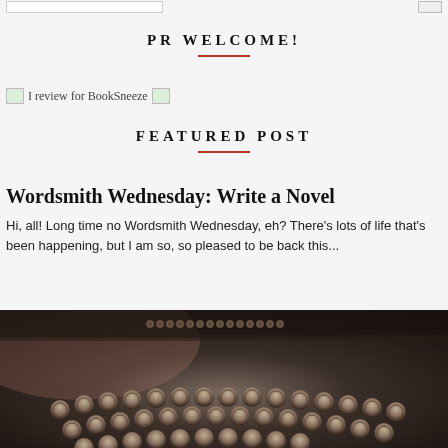[search box] [button]
PR WELCOME!
I review for BookSneeze
FEATURED POST
Wordsmith Wednesday: Write a Novel
Hi, all! Long time no Wordsmith Wednesday, eh? There's lots of life that's been happening, but I am so, so pleased to be back this...
[Figure (photo): Close-up photograph of vintage typewriter keys, dark and detailed]